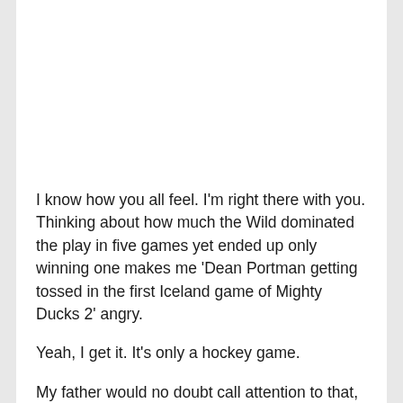I know how you all feel. I'm right there with you. Thinking about how much the Wild dominated the play in five games yet ended up only winning one makes me 'Dean Portman getting tossed in the first Iceland game of Mighty Ducks 2' angry.
Yeah, I get it. It's only a hockey game.
My father would no doubt call attention to that, as he often did with me, at this juncture. But I irrationally love this sport, including my favorite squad. You're never going to change that about me. And perhaps there